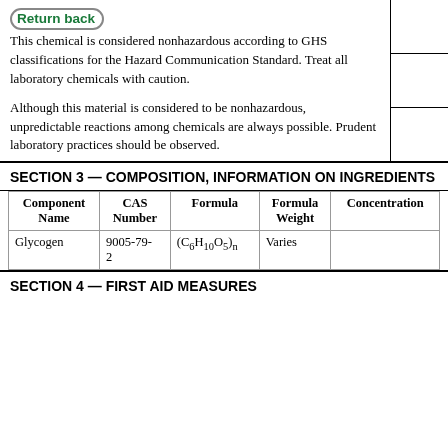This chemical is considered nonhazardous according to GHS classifications for the Hazard Communication Standard. Treat all laboratory chemicals with caution.
Although this material is considered to be nonhazardous, unpredictable reactions among chemicals are always possible. Prudent laboratory practices should be observed.
SECTION 3 — COMPOSITION, INFORMATION ON INGREDIENTS
| Component Name | CAS Number | Formula | Formula Weight | Concentration |
| --- | --- | --- | --- | --- |
| Glycogen | 9005-79-2 | (C6H10O5)n | Varies |  |
SECTION 4 — FIRST AID MEASURES